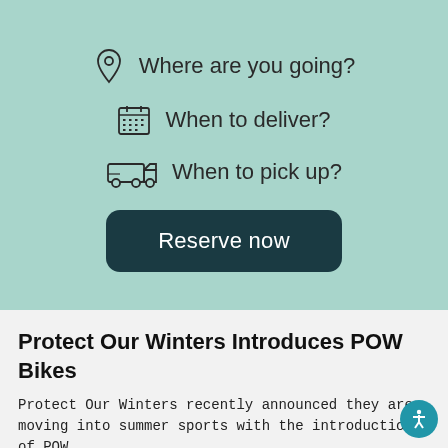Where are you going?
When to deliver?
When to pick up?
Reserve now
Protect Our Winters Introduces POW Bikes
Protect Our Winters recently announced they are moving into summer sports with the introduction of POW...
Jack Donahue  Jul 28, 2022